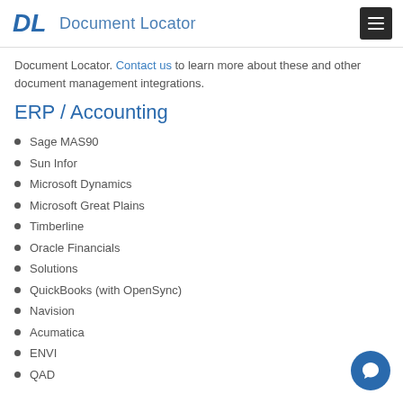Document Locator
Document Locator. Contact us to learn more about these and other document management integrations.
ERP / Accounting
Sage MAS90
Sun Infor
Microsoft Dynamics
Microsoft Great Plains
Timberline
Oracle Financials
Solutions
QuickBooks (with OpenSync)
Navision
Acumatica
ENVI
QAD